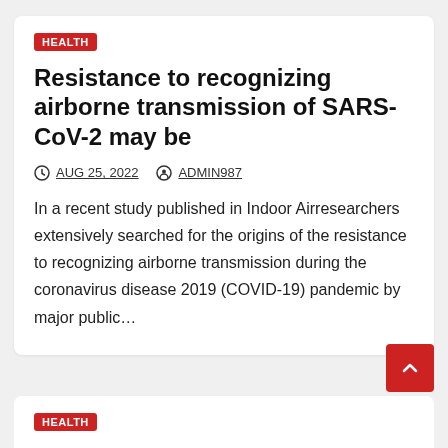HEALTH
Resistance to recognizing airborne transmission of SARS-CoV-2 may be
AUG 25, 2022   ADMIN987
In a recent study published in Indoor Airresearchers extensively searched for the origins of the resistance to recognizing airborne transmission during the coronavirus disease 2019 (COVID-19) pandemic by major public…
HEALTH